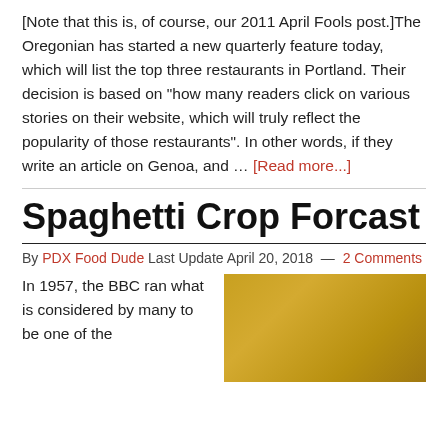[Note that this is, of course, our 2011 April Fools post.]The Oregonian has started a new quarterly feature today, which will list the top three restaurants in Portland. Their decision is based on "how many readers click on various stories on their website, which will truly reflect the popularity of those restaurants". In other words, if they write an article on Genoa, and … [Read more...]
Spaghetti Crop Forcast
By PDX Food Dude Last Update April 20, 2018 — 2 Comments
In 1957, the BBC ran what is considered by many to be one of the
[Figure (photo): A golden-yellow image, likely a photo of a spaghetti crop or wheat field with golden tones]